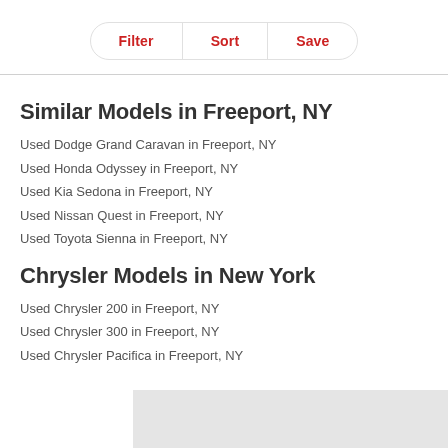[Figure (other): Toolbar with three buttons: Filter, Sort, Save]
Similar Models in Freeport, NY
Used Dodge Grand Caravan in Freeport, NY
Used Honda Odyssey in Freeport, NY
Used Kia Sedona in Freeport, NY
Used Nissan Quest in Freeport, NY
Used Toyota Sienna in Freeport, NY
Chrysler Models in New York
Used Chrysler 200 in Freeport, NY
Used Chrysler 300 in Freeport, NY
Used Chrysler Pacifica in Freeport, NY